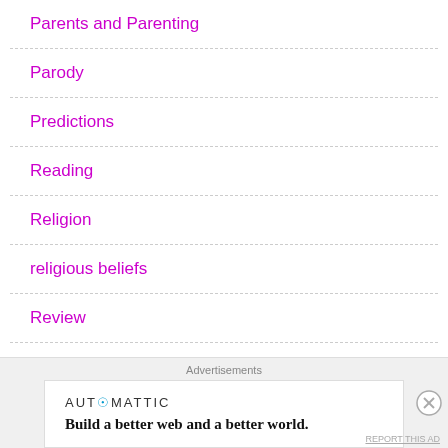Parents and Parenting
Parody
Predictions
Reading
Religion
religious beliefs
Review
Robert Jordan
Sailor Moon
Advertisements
[Figure (logo): AUTOMATTIC logo with blue @ symbol, with tagline: Build a better web and a better world.]